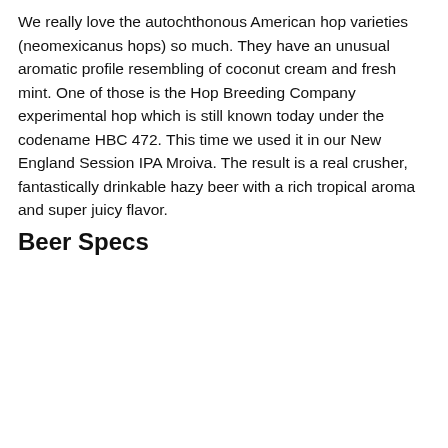We really love the autochthonous American hop varieties (neomexicanus hops) so much. They have an unusual aromatic profile resembling of coconut cream and fresh mint. One of those is the Hop Breeding Company experimental hop which is still known today under the codename HBC 472. This time we used it in our New England Session IPA Mroiva. The result is a real crusher, fantastically drinkable hazy beer with a rich tropical aroma and super juicy flavor.
Beer Specs
|  |  |
| --- | --- |
| Style | New England IPA |
| Series | Mroiva |
| Release date | 14.08.2020 |